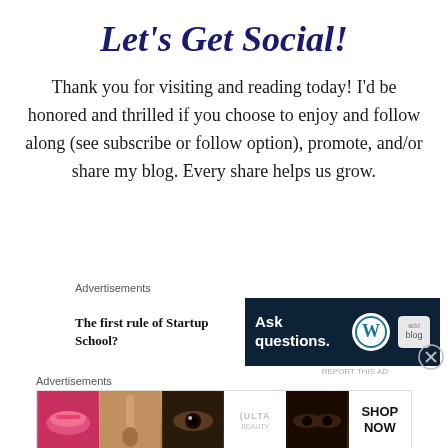Let’s Get Social!
Thank you for visiting and reading today! I’d be honored and thrilled if you choose to enjoy and follow along (see subscribe or follow option), promote, and/or share my blog. Every share helps us grow.
Advertisements
[Figure (illustration): Ad: 'The first rule of Startup School?' text with a dark navy banner reading 'Ask questions.' with WordPress logo and another logo]
Advertisements
[Figure (illustration): Ulta beauty banner ad with makeup images (lips, brush, eye, Ulta logo, eyes, SHOP NOW)]